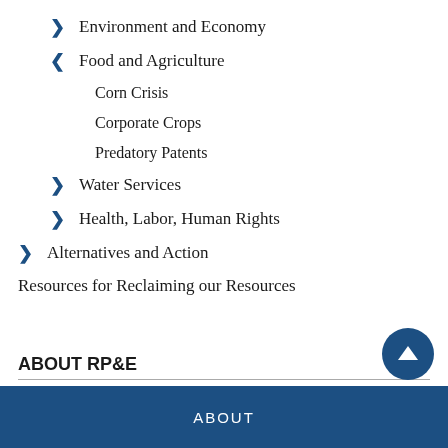> Environment and Economy
v Food and Agriculture
Corn Crisis
Corporate Crops
Predatory Patents
> Water Services
> Health, Labor, Human Rights
> Alternatives and Action
Resources for Reclaiming our Resources
ABOUT RP&E
ABOUT